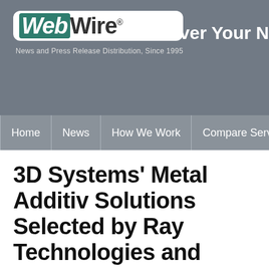WebWire® — News and Press Release Distribution, Since 1995 | Deliver Your N...
Home | News | How We Work | Compare Services
3D Systems' Metal Additive Solutions Selected by Ray Technologies and CCDC A Laboratory for Novel Ther...
3D Systems' DMP Factory 500 solution will be p topological optimization that accounts for heat t
ROCK HILL, South Carolina – WEBWIRE – Friday, February 12...